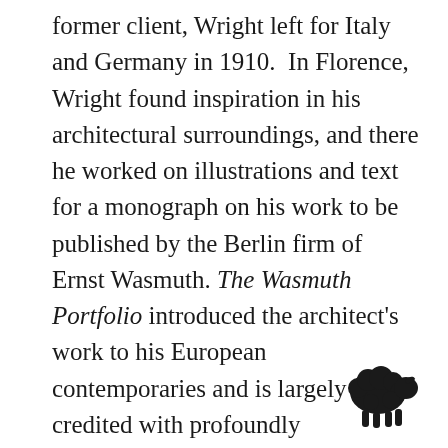former client, Wright left for Italy and Germany in 1910. In Florence, Wright found inspiration in his architectural surroundings, and there he worked on illustrations and text for a monograph on his work to be published by the Berlin firm of Ernst Wasmuth. The Wasmuth Portfolio introduced the architect's work to his European contemporaries and is largely credited with profoundly influencing the direction of 20th-century architecture. Collectors and museums alike prize the portfolio for its historic importance and for the beauty of the images.
[Figure (illustration): Small black silhouette icon of a sheep facing right, positioned in the bottom-right corner of the page.]